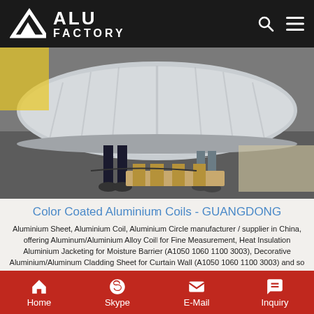ALU FACTORY
[Figure (photo): Industrial workers handling a large wrapped aluminum coil roll in a factory warehouse setting]
Color Coated Aluminium Coils - GUANGDONG
Aluminium Sheet, Aluminium Coil, Aluminium Circle manufacturer / supplier in China, offering Aluminum/Aluminium Alloy Coil for Fine Measurement, Heat Insulation Aluminium Jacketing for Moisture Barrier (A1050 1060 1100 3003), Decorative Aluminium/Aluminum Cladding Sheet for Curtain Wall (A1050 1060 1100 3003) and so on.
Home  Skype  E-Mail  Inquiry